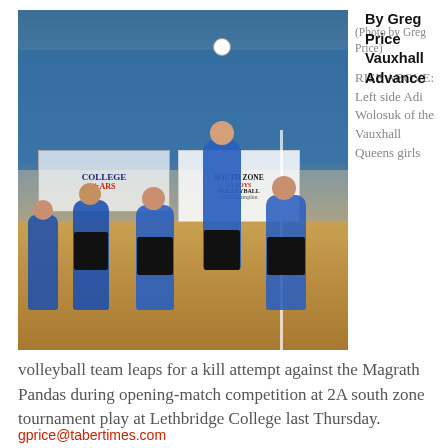[Figure (photo): Volleyball players in blue uniforms in a gym, one player leaping for a kill attempt. Background shows blue tarps/banners and South Zone 2A Boys Volleyball signage at Lethbridge College.]
(Photo by Greg Price) RISE ABOVE: Left side Adi Wolosuk of the Vauxhall Queens girls
By Greg Price
Vauxhall Advance
volleyball team leaps for a kill attempt against the Magrath Pandas during opening-match competition at 2A south zone tournament play at Lethbridge College last Thursday.
gprice@tabertimes.com